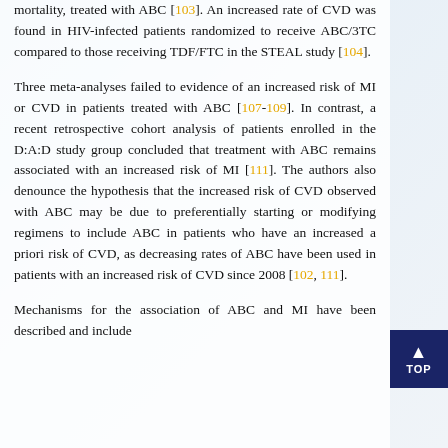mortality, treated with ABC [103]. An increased rate of CVD was found in HIV-infected patients randomized to receive ABC/3TC compared to those receiving TDF/FTC in the STEAL study [104].
Three meta-analyses failed to evidence of an increased risk of MI or CVD in patients treated with ABC [107-109]. In contrast, a recent retrospective cohort analysis of patients enrolled in the D:A:D study group concluded that treatment with ABC remains associated with an increased risk of MI [111]. The authors also denounce the hypothesis that the increased risk of CVD observed with ABC may be due to preferentially starting or modifying regimens to include ABC in patients who have an increased a priori risk of CVD, as decreasing rates of ABC have been used in patients with an increased risk of CVD since 2008 [102, 111].
Mechanisms for the association of ABC and MI have been described and include